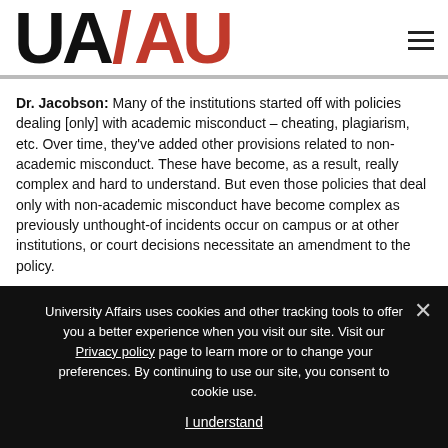UA/AU logo and navigation menu
Dr. Jacobson: Many of the institutions started off with policies dealing [only] with academic misconduct – cheating, plagiarism, etc. Over time, they've added other provisions related to non-academic misconduct. These have become, as a result, really complex and hard to understand. But even those policies that deal only with non-academic misconduct have become complex as previously unthought-of incidents occur on campus or at other institutions, or court decisions necessitate an amendment to the policy.
UA: Such complexity has led to complaints from students
University Affairs uses cookies and other tracking tools to offer you a better experience when you visit our site. Visit our Privacy policy page to learn more or to change your preferences. By continuing to use our site, you consent to cookie use.
I understand